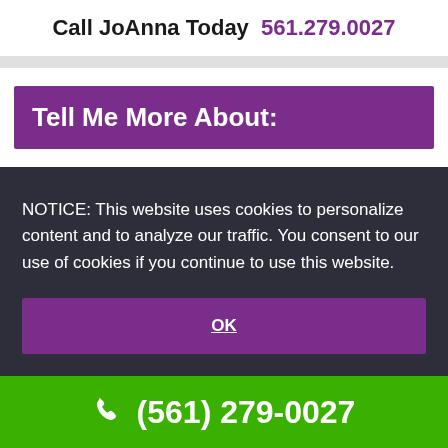Call JoAnna Today 561.279.0027
Tell Me More About:
NOTICE: This website uses cookies to personalize content and to analyze our traffic. You consent to our use of cookies if you continue to use this website.
OK
(561) 279-0027